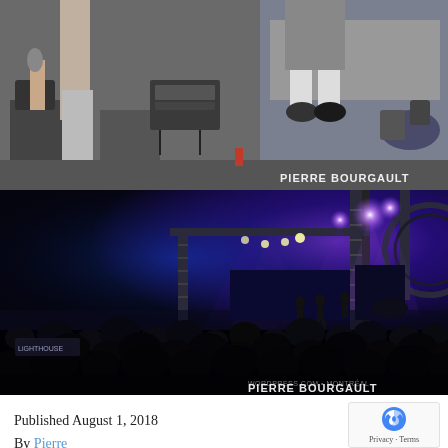[Figure (photo): Concert stage photo collage: top strip shows close-up of performer legs and equipment on stage in daylight with 'PIERRE BOURGAULT' watermark; bottom larger photo shows an outdoor/indoor concert venue at night with blue/purple stage lighting, crowd silhouettes in foreground, stage trusses and lights visible, with 'PIERRE BOURGAULT' watermark in lower right.]
Published August 1, 2018
By Pierre
Categorized as Show